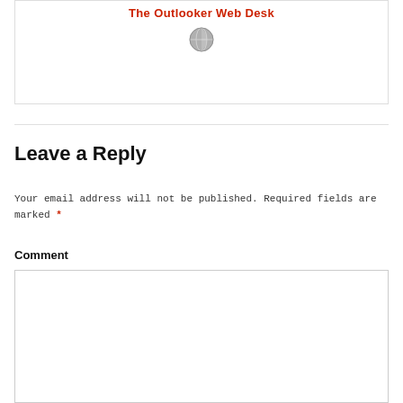The Outlooker Web Desk
[Figure (illustration): Small circular avatar/globe icon in grey tones]
Leave a Reply
Your email address will not be published. Required fields are marked *
Comment